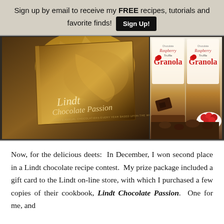Sign up by email to receive my FREE recipes, tutorials and favorite finds!  Sign Up!
[Figure (photo): Left half: Lindt Chocolate Passion cookbook cover with chocolate drizzle. Right half: Two packages of Chocolate Raspberry Truffle Granola with raspberries and chocolate pieces.]
Now, for the delicious deets:  In December, I won second place in a Lindt chocolate recipe contest.  My prize package included a gift card to the Lindt on-line store, with which I purchased a few copies of their cookbook, Lindt Chocolate Passion.  One for me, and